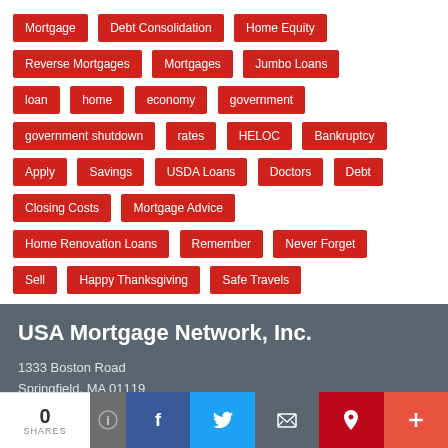Mortgage
Debt Consolidation
Home Equity
Reverse Mortgages
Mortgages
Jumbo Loans
loan
home
economy
government
government shutdown
rates
HELOC
Bankruptcy
Apply
Savings
USDA Loans
Doctors
Debt
Closing Costs
Mortgage Advice
Home Renovation Loans
Remember
Never Forget
Sell
Happy Thanksgiving
Safe Travels
USA Mortgage Network, Inc.
1333 Boston Road
Springfield, MA 01119
Phone: 413-737-1100
0 SHARES